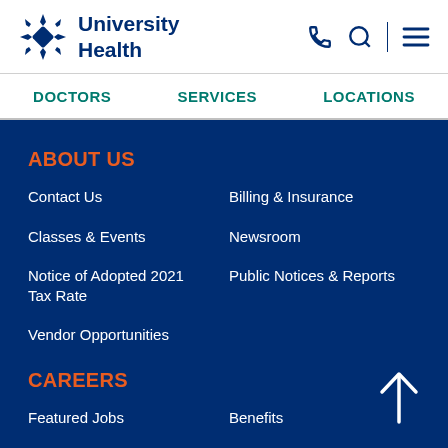[Figure (logo): University Health logo with geometric star icon in dark navy blue]
DOCTORS   SERVICES   LOCATIONS
ABOUT US
Contact Us
Billing & Insurance
Classes & Events
Newsroom
Notice of Adopted 2021 Tax Rate
Public Notices & Reports
Vendor Opportunities
CAREERS
Featured Jobs
Benefits